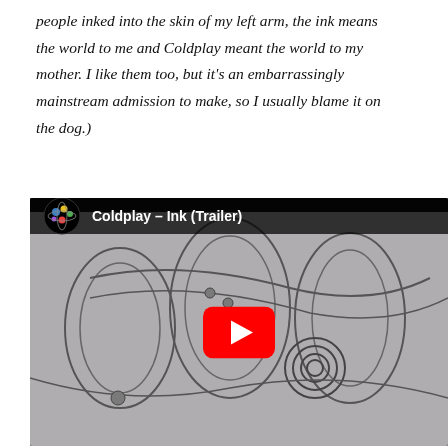people inked into the skin of my left arm, the ink means the world to me and Coldplay meant the world to my mother. I like them too, but it's an embarrassingly mainstream admission to make, so I usually blame it on the dog.)
[Figure (screenshot): YouTube video embed showing 'Coldplay - Ink (Trailer)' with a black and white surreal ink artwork as thumbnail and a large red YouTube play button in the center.]